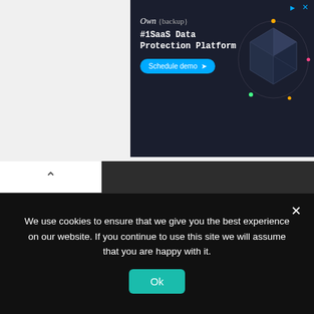[Figure (screenshot): Advertisement banner for Own {backup} - #1SaaS Data Protection Platform with Schedule demo button and dark geometric graphic]
Tools
Uncategorized
Website
Windows
WordPress
We use cookies to ensure that we give you the best experience on our website. If you continue to use this site we will assume that you are happy with it.